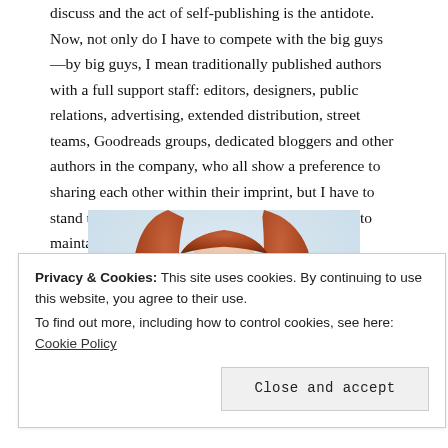discuss and the act of self-publishing is the antidote. Now, not only do I have to compete with the big guys—by big guys, I mean traditionally published authors with a full support staff: editors, designers, public relations, advertising, extended distribution, street teams, Goodreads groups, dedicated bloggers and other authors in the company, who all show a preference to sharing each other within their imprint, but I have to stand up against a throng of my fellow indies just to maintain my fan base.
[Figure (photo): A young woman with long red hair and dark lipstick holding an orange tabby kitten. She has dark nail polish and wears jewelry. Light blue/grey background. Professional photo.]
Privacy & Cookies: This site uses cookies. By continuing to use this website, you agree to their use. To find out more, including how to control cookies, see here: Cookie Policy
Close and accept